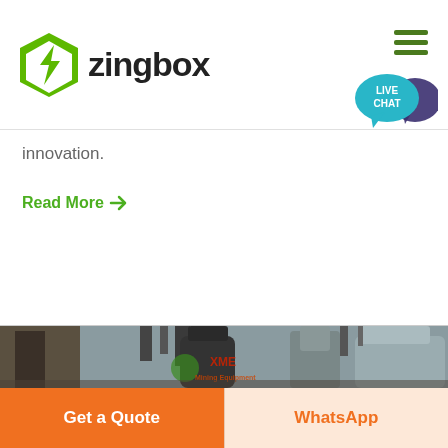zingbox
innovation.
Read More →
[Figure (photo): Industrial mining equipment facility with large cylindrical processing units, pipes, and metal structures. XME Mining Equipment watermark visible.]
Get a Quote
WhatsApp